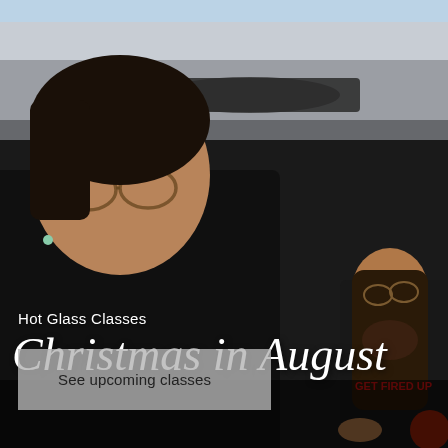[Figure (photo): Two people wearing black 'Get Fired Up' t-shirts in what appears to be a glass blowing studio or workshop. The person in the foreground is a woman with glasses looking down, the person in the background is a man with long hair and beard with hands on hips. Industrial equipment and pipes visible in background.]
Hot Glass Classes
Christmas in August
See upcoming classes